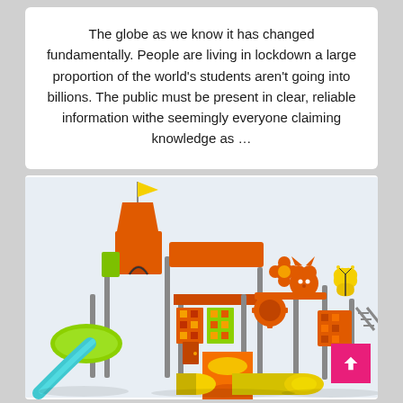The globe as we know it has changed fundamentally. People are living in lockdown a large proportion of the world's students aren't going into billions. The public must be present in clear, reliable information withe seemingly everyone claiming knowledge as …
[Figure (illustration): A colorful children's playground set with orange and yellow-green components, featuring a spiral slide, tube slide, climbing structures, castle tower with yellow flag, and decorative animal/butterfly shapes on top. The set is rendered in a 3D illustration style against a light background.]